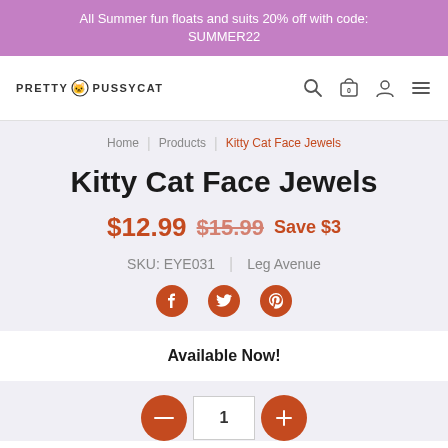All Summer fun floats and suits 20% off with code: SUMMER22
[Figure (logo): PRETTY PUSSYCAT logo with cat icon and navigation icons (search, cart, account, menu)]
Home | Products | Kitty Cat Face Jewels
Kitty Cat Face Jewels
$12.99 $15.99 Save $3
SKU: EYE031 | Leg Avenue
[Figure (infographic): Social share icons: Facebook, Twitter, Pinterest]
Available Now!
1